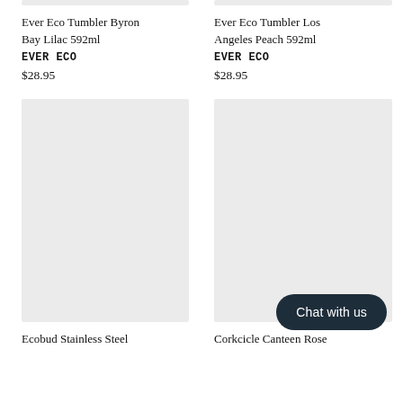[Figure (photo): Product image placeholder (light gray rectangle) for Ever Eco Tumbler Byron Bay Lilac 592ml]
Ever Eco Tumbler Byron Bay Lilac 592ml
EVER ECO
$28.95
[Figure (photo): Product image placeholder (light gray rectangle) for Ever Eco Tumbler Los Angeles Peach 592ml]
Ever Eco Tumbler Los Angeles Peach 592ml
EVER ECO
$28.95
[Figure (photo): Product image placeholder (light gray rectangle) for Ecobud Stainless Steel product]
Ecobud Stainless Steel
[Figure (photo): Product image placeholder (light gray rectangle) for Corkcicle Canteen Rose product, with 'Chat with us' button overlay]
Corkcicle Canteen Rose